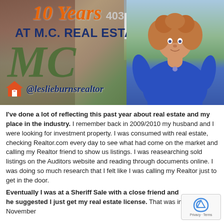[Figure (photo): Promotional real estate banner image showing a woman (Leslie Burns) in a blue dress with curly red hair, overlaid text reading '10 Years AT M.C. REAL ESTATE', an MC script logo, a house icon, and the handle @leslieburnsrealtor. Background shows a brick building and real estate sign.]
I've done a lot of reflecting this past year about real estate and my place in the industry. I remember back in 2009/2010 my husband and I were looking for investment property. I was consumed with real estate, checking Realtor.com every day to see what had come on the market and calling my Realtor friend to show us listings. I was reasearching sold listings on the Auditors website and reading through documents online. I was doing so much research that I felt like I was calling my Realtor just to get in the door.
Eventually I was at a Sheriff Sale with a close friend and he suggested I just get my real estate license. That was in November